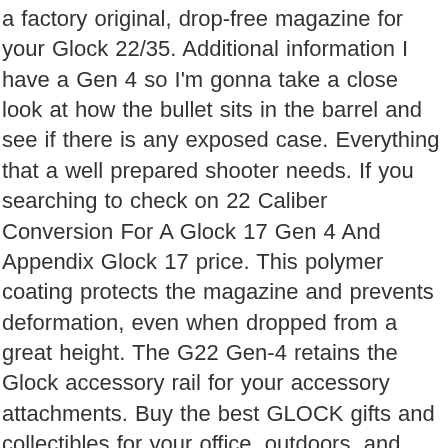a factory original, drop-free magazine for your Glock 22/35. Additional information I have a Gen 4 so I'm gonna take a close look at how the bullet sits in the barrel and see if there is any exposed case. Everything that a well prepared shooter needs. If you searching to check on 22 Caliber Conversion For A Glock 17 Gen 4 And Appendix Glock 17 price. This polymer coating protects the magazine and prevents deformation, even when dropped from a great height. The G22 Gen-4 retains the Glock accessory rail for your accessory attachments. Buy the best GLOCK gifts and collectibles for your office, outdoors, and range. In this video I review the Glock 22 and … It's a 40 Smith & Wesson caliber midsize handgun. The enlarged mag release catch is now easily reversible to either the left or right side. Glock Gen 4 Problems. Glock 22 Gen4 .40S&W $ 599.00 $ 529.99. The good news is that the GLOCK 22 is very easily modified to be able to fire two other calibers. The G44 is the ideal pistol to start or enhance your shooting experience. Glock